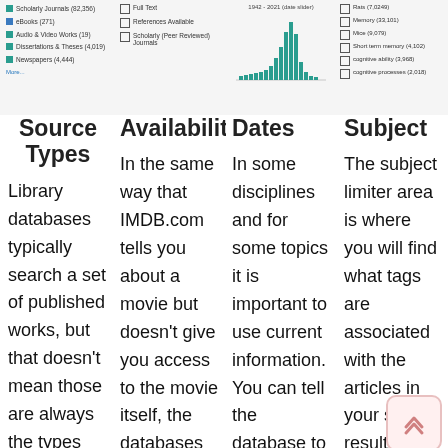[Figure (screenshot): Top strip showing four partial UI panels from a library database interface: source type filters with colored icons, availability checkboxes, a date histogram chart, and subject checkboxes]
Source Types
Availability
Dates
Subject
Library databases typically search a set of published works, but that doesn't mean those are always the types
In the same way that IMDB.com tells you about a movie but doesn't give you access to the movie itself, the databases might have
In some disciplines and for some topics it is important to use current information. You can tell the database to only give you
The subject limiter area is where you will find what tags are associated with the articles in your search results. Because